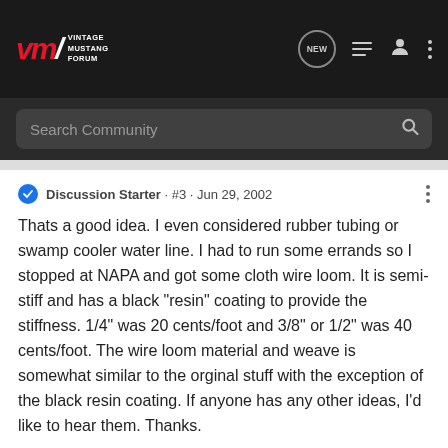Vintage Mustang Forum
Search Community
Discussion Starter · #3 · Jun 29, 2002
Thats a good idea. I even considered rubber tubing or swamp cooler water line. I had to run some errands so I stopped at NAPA and got some cloth wire loom. It is semi-stiff and has a black "resin" coating to provide the stiffness. 1/4" was 20 cents/foot and 3/8" or 1/2" was 40 cents/foot. The wire loom material and weave is somewhat similar to the orginal stuff with the exception of the black resin coating. If anyone has any other ideas, I'd like to hear them. Thanks.